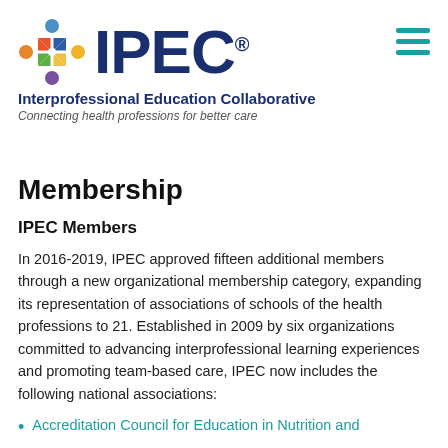[Figure (logo): IPEC logo with colorful compass-like icon and bold navy IPEC text with registered trademark symbol]
Interprofessional Education Collaborative
Connecting health professions for better care
Membership
IPEC Members
In 2016-2019, IPEC approved fifteen additional members through a new organizational membership category, expanding its representation of associations of schools of the health professions to 21. Established in 2009 by six organizations committed to advancing interprofessional learning experiences and promoting team-based care, IPEC now includes the following national associations:
Accreditation Council for Education in Nutrition and